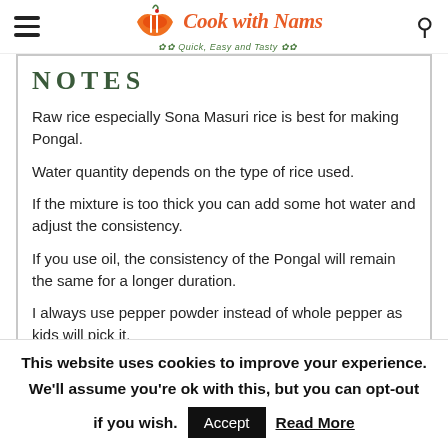Cook with Nams — Quick, Easy and Tasty
NOTES
Raw rice especially Sona Masuri rice is best for making Pongal.
Water quantity depends on the type of rice used.
If the mixture is too thick you can add some hot water and adjust the consistency.
If you use oil, the consistency of the Pongal will remain the same for a longer duration.
I always use pepper powder instead of whole pepper as kids will pick it.
This website uses cookies to improve your experience. We'll assume you're ok with this, but you can opt-out if you wish. Accept Read More